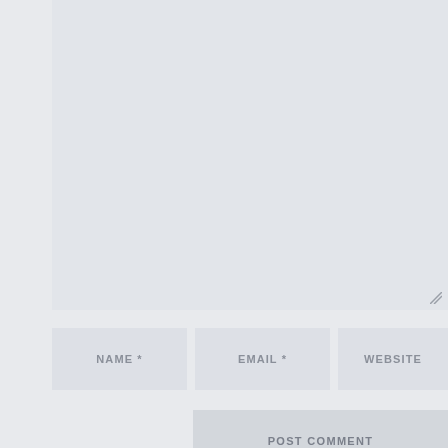[Figure (screenshot): Comment form textarea area (grey background), partially visible at top of page]
NAME *
EMAIL *
WEBSITE
POST COMMENT
SEARCH ...
RECENT POSTS
Blue Bottle Espresso Parameters